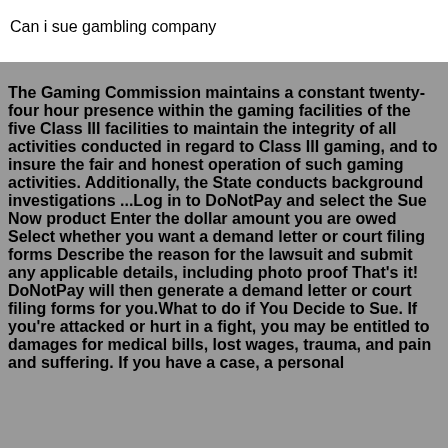Can i sue gambling company
The Gaming Commission maintains a constant twenty-four hour presence within the gaming facilities of the five Class III facilities to maintain the integrity of all activities conducted in regard to Class III gaming, and to insure the fair and honest operation of such gaming activities. Additionally, the State conducts background investigations ...Log in to DoNotPay and select the Sue Now product Enter the dollar amount you are owed Select whether you want a demand letter or court filing forms Describe the reason for the lawsuit and submit any applicable details, including photo proof That's it! DoNotPay will then generate a demand letter or court filing forms for you.What to do if You Decide to Sue. If you're attacked or hurt in a fight, you may be entitled to damages for medical bills, lost wages, trauma, and pain and suffering. If you have a case, a personal